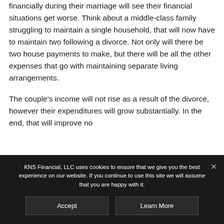financially during their marriage will see their financial situations get worse. Think about a middle-class family struggling to maintain a single household, that will now have to maintain two following a divorce. Not only will there be two house payments to make, but there will be all the other expenses that go with maintaining separate living arrangements.
The couple's income will not rise as a result of the divorce, however their expenditures will grow substantially. In the end, that will improve no
KNS Financial, LLC uses cookies to ensure that we give you the best experience on our website. If you continue to use this site we will assume that you are happy with it.